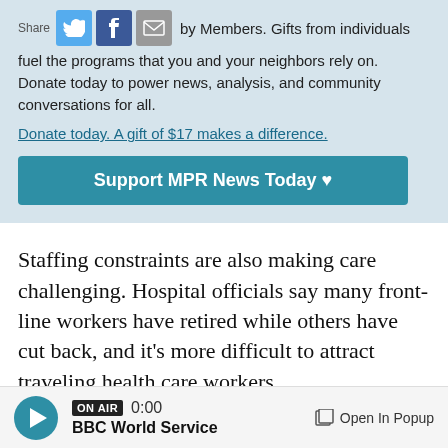by Members. Gifts from individuals fuel the programs that you and your neighbors rely on. Donate today to power news, analysis, and community conversations for all.
Donate today. A gift of $17 makes a difference.
Support MPR News Today ♥
Staffing constraints are also making care challenging. Hospital officials say many front-line workers have retired while others have cut back, and it's more difficult to attract traveling health care workers.
ON AIR 0:00 BBC World Service Open In Popup